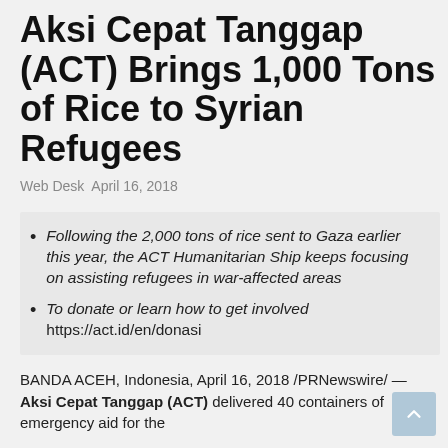Aksi Cepat Tanggap (ACT) Brings 1,000 Tons of Rice to Syrian Refugees
Web Desk April 16, 2018
Following the 2,000 tons of rice sent to Gaza earlier this year, the ACT Humanitarian Ship keeps focusing on assisting refugees in war-affected areas
To donate or learn how to get involved https://act.id/en/donasi
BANDA ACEH, Indonesia, April 16, 2018 /PRNewswire/ — Aksi Cepat Tanggap (ACT) delivered 40 containers of emergency aid for the